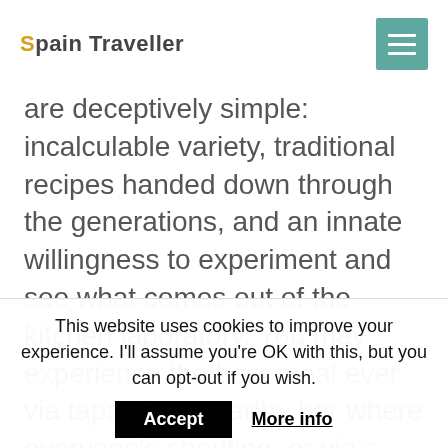Spain Traveller
are deceptively simple: incalculable variety, traditional recipes handed down through the generations, and an innate willingness to experiment and see what comes out of the kitchen laboratory. You may experience the best meal ever via tapas in an earthy bar where everyone's shouting, or via a
This website uses cookies to improve your experience. I'll assume you're OK with this, but you can opt-out if you wish. Accept More info